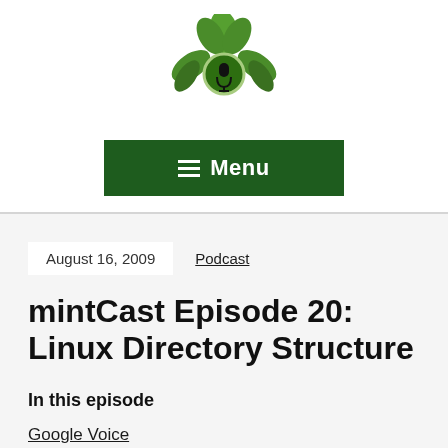[Figure (logo): mintCast podcast logo: green leaves with a microphone icon in a circular badge]
≡ Menu
August 16, 2009   Podcast
mintCast Episode 20: Linux Directory Structure
In this episode
Google Voice